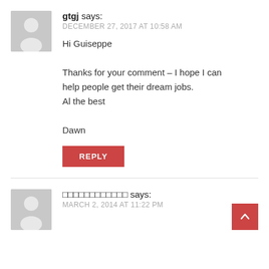[Figure (illustration): Grey avatar placeholder icon for user gtgj]
gtgj says:
DECEMBER 27, 2017 AT 10:58 AM
Hi Guiseppe

Thanks for your comment – I hope I can help people get their dream jobs.
Al the best

Dawn
REPLY
[Figure (illustration): Grey avatar placeholder icon for second commenter]
□□□□□□□□□□□□ says:
MARCH 2, 2014 AT 11:22 PM